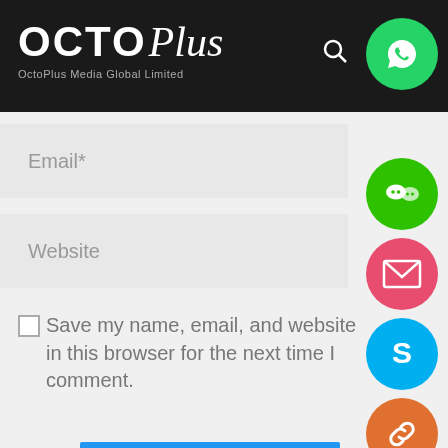[Figure (logo): OctoPlus Media Global Limited logo on dark background header]
[Figure (screenshot): Website comment form with Email and Website input fields, checkbox for saving info, and POST COMMENT button, with social media icon buttons on the right side (WhatsApp, WeChat, Email, Skype, Link, Close)]